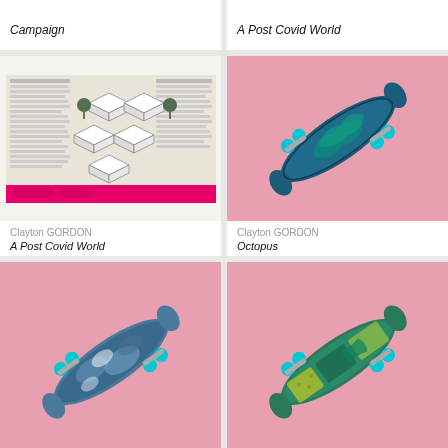Campaign
A Post Covid World
[Figure (photo): Newspaper page with architectural floor plan illustration overlaid, featuring pink strip at bottom]
[Figure (photo): Fingerboard/mini skateboard with octopus design on pink background]
Clayton GORDON
A Post Covid World
Clayton GORDON
Octopus
[Figure (photo): Fingerboard/mini skateboard with blue camouflage/cloud design on pink background]
[Figure (photo): Fingerboard/mini skateboard with teal and yellow pattern on pink background]